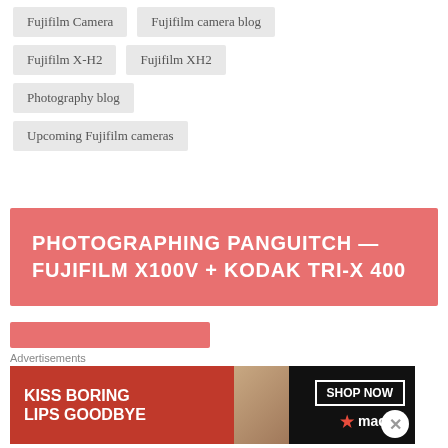Fujifilm Camera
Fujifilm camera blog
Fujifilm X-H2
Fujifilm XH2
Photography blog
Upcoming Fujifilm cameras
PHOTOGRAPHING PANGUITCH — FUJIFILM X100V + KODAK TRI-X 400
Advertisements
[Figure (infographic): Macy's advertisement banner showing 'KISS BORING LIPS GOODBYE' with a woman's face and SHOP NOW button with Macy's star logo]